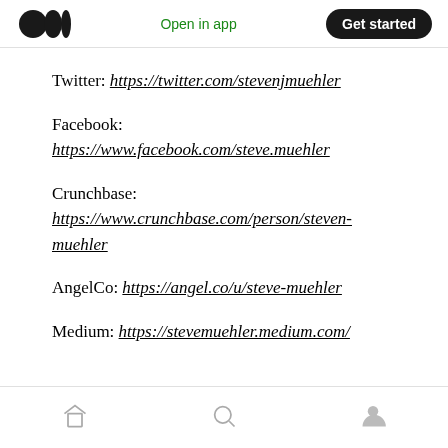Open in app   Get started
Twitter: https://twitter.com/stevenjmuehler
Facebook:
https://www.facebook.com/steve.muehler
Crunchbase:
https://www.crunchbase.com/person/steven-muehler
AngelCo: https://angel.co/u/steve-muehler
Medium: https://stevemuehler.medium.com/
Home  Search  Profile